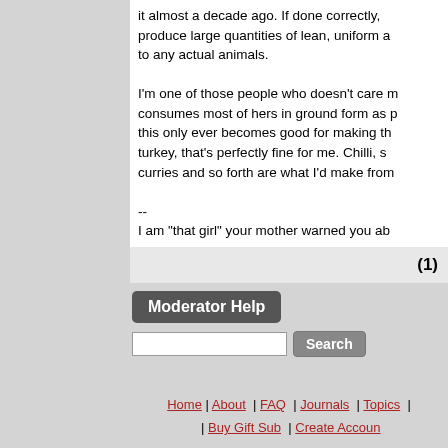it almost a decade ago. If done correctly, produce large quantities of lean, uniform a to any actual animals.

I'm one of those people who doesn't care m consumes most of hers in ground form as p this only ever becomes good for making th turkey, that's perfectly fine for me. Chilli, s curries and so forth are what I'd make fron

--
I am "that girl" your mother warned you ab
(1)
Moderator Help
Search
Home | About | FAQ | Journals | Topics | Buy Gift Sub | Create Account
Privacy Policy: We don't track anyone except on relevant and are ignored. We don't collect any p you except your email address, which: you can c in the first place, is only used to contact you if n with nobody.